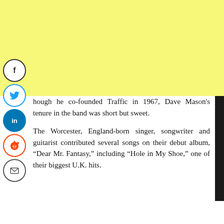[Figure (other): Yellow banner background at top of page]
[Figure (other): Social sharing icons: Facebook, Twitter, LinkedIn, Reddit, Email]
hough he co-founded Traffic in 1967, Dave Mason's tenure in the band was short but sweet.
The Worcester, England-born singer, songwriter and guitarist contributed several songs on their debut album, “Dear Mr. Fantasy,” including “Hole in My Shoe,” one of their biggest U.K. hits.